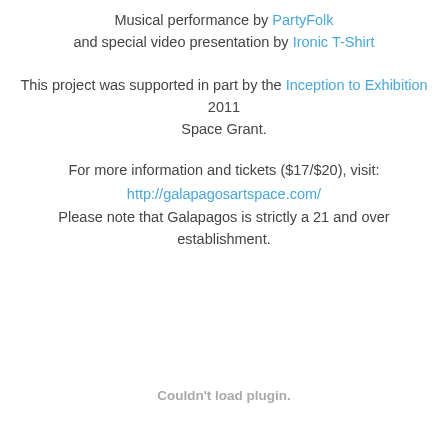Musical performance by PartyFolk and special video presentation by Ironic T-Shirt
This project was supported in part by the Inception to Exhibition 2011 Space Grant.
For more information and tickets ($17/$20), visit: http://galapagosartspace.com/ Please note that Galapagos is strictly a 21 and over establishment.
Couldn't load plugin.